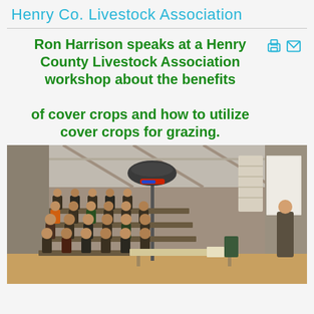Henry Co. Livestock Association
Ron Harrison speaks at a Henry County Livestock Association workshop about the benefits of cover crops and how to utilize cover crops for grazing.
[Figure (photo): Indoor workshop scene showing a speaker presenting to a large audience seated on bleachers inside what appears to be an agricultural building or barn. A propane heater on a tall pole is visible in the center. The presenter stands at right near a projection screen.]